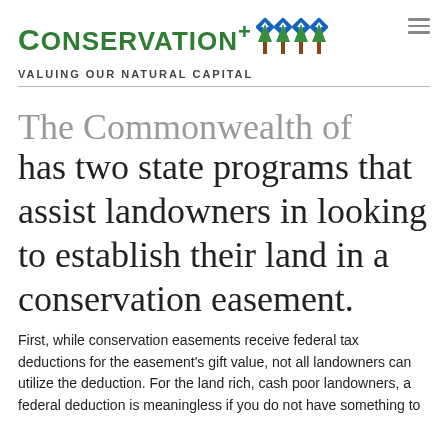Conservation+ — Valuing Our Natural Capital
The Commonwealth of Virginia has two state programs that assist landowners in looking to establish their land in a conservation easement.
First, while conservation easements receive federal tax deductions for the easement's gift value, not all landowners can utilize the deduction. For the land rich, cash poor landowners, a federal deduction is meaningless if you do not have something to